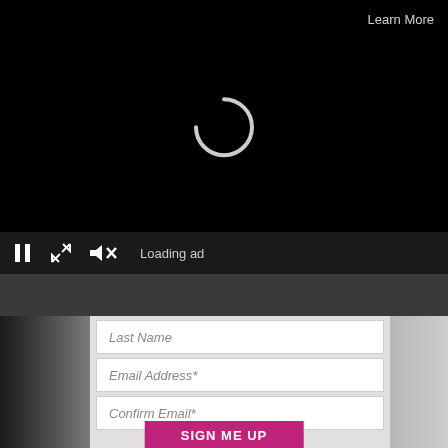[Figure (screenshot): Black video player area with loading spinner in center]
Learn More
Loading ad
×
Last Name
Email Address*
Confirm Email*
SIGN ME UP